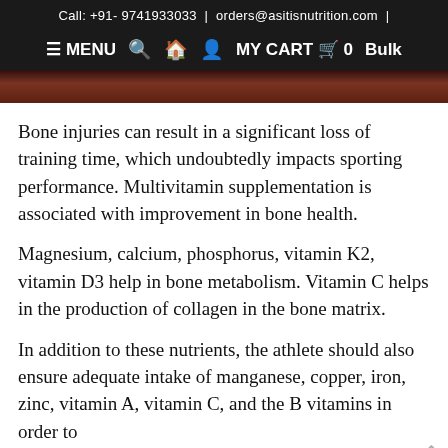Call: +91- 9741933033 | orders@asitisnutrition.com |
≡ MENU  🔍  🏠  👤  MY CART  🛒  0  Bulk
[Figure (photo): Partial product/food image strip in dark reddish-brown tones]
Bone injuries can result in a significant loss of training time, which undoubtedly impacts sporting performance. Multivitamin supplementation is associated with improvement in bone health.
Magnesium, calcium, phosphorus, vitamin K2, vitamin D3 help in bone metabolism. Vitamin C helps in the production of collagen in the bone matrix.
In addition to these nutrients, the athlete should also ensure adequate intake of manganese, copper, iron, zinc, vitamin A, vitamin C, and the B vitamins in order to